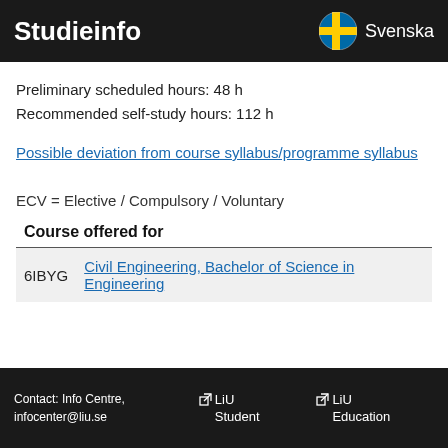Studieinfo   Svenska
Preliminary scheduled hours: 48 h
Recommended self-study hours: 112 h
Possible deviation from course syllabus/programme syllabus
ECV = Elective / Compulsory / Voluntary
| Course offered for |  |
| --- | --- |
| 6IBYG | Civil Engineering, Bachelor of Science in Engineering |
Contact: Info Centre, infocenter@liu.se   LiU Student   LiU Education